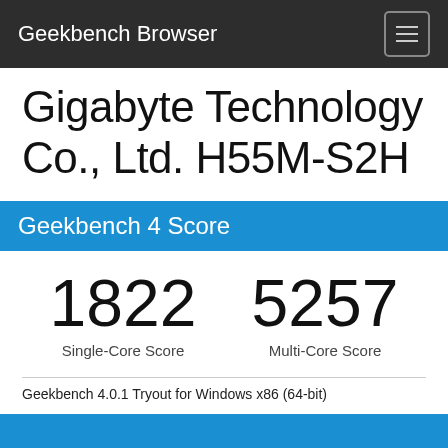Geekbench Browser
Gigabyte Technology Co., Ltd. H55M-S2H
Geekbench 4 Score
1822
Single-Core Score
5257
Multi-Core Score
Geekbench 4.0.1 Tryout for Windows x86 (64-bit)